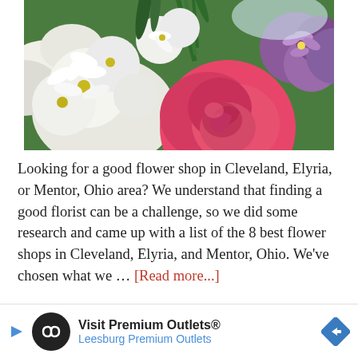[Figure (photo): Close-up photo of colorful flowers including white daisies/chrysanthemums, a pink rose in the center, and purple flowers on the right side.]
Looking for a good flower shop in Cleveland, Elyria, or Mentor, Ohio area? We understand that finding a good florist can be a challenge, so we did some research and came up with a list of the 8 best flower shops in Cleveland, Elyria, and Mentor, Ohio. We've chosen what we … [Read more...]
FILED UNDER: FLOWERS
[Figure (screenshot): Ad banner: Visit Premium Outlets® / Leesburg Premium Outlets with play button, circular logo with infinity symbol, and navigation arrow icon.]